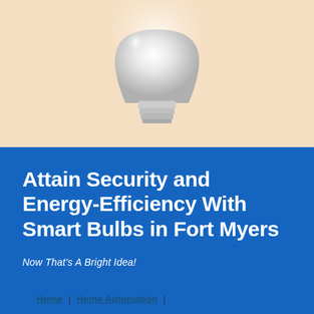[Figure (illustration): A white LED light bulb photographed against a warm peach/beige background, shown from slightly above, with the bulb taking up most of the upper half of the image.]
Attain Security and Energy-Efficiency With Smart Bulbs in Fort Myers
Now That’s A Bright Idea!
Home | Home Automation |